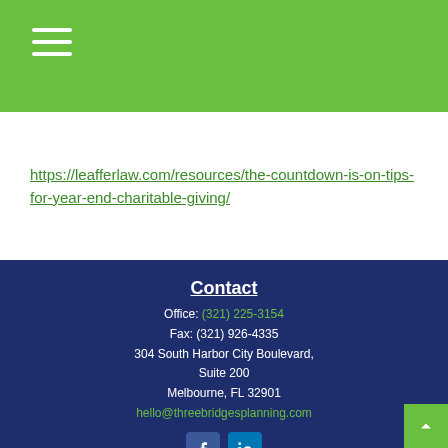Navigation menu (hamburger icon)
https://leafferlaw.com/resources/the-countdown-is-on-tips-for-year-end-charitable-giving/
Contact
Office: (321) 225-3154
Fax: (321) 926-4335
304 South Harbor City Boulevard,
Suite 200
Melbourne, FL 32901
hello@threebridgesplanning.com